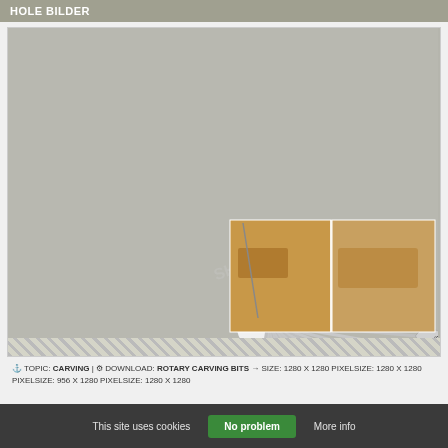HOLE BILDER
[Figure (photo): A fan-shaped arrangement of flat wood spade/paddle drill bits in various sizes (6 through 40mm), spread out in a semicircle showing their numbered blades, alongside two smaller photos showing the bits in use drilling into wood.]
⚓ TOPIC: CARVING | ⚙ DOWNLOAD: ROTARY CARVING BITS → SIZE: 1280 X 1280 PIXELSIZE: 1280 X 1280 PIXELSIZE: 956 X 1280 PIXELSIZE: 1280 X 1280
This site uses cookies   No problem   More info